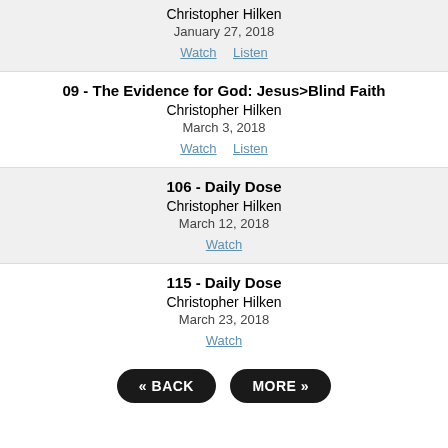Christopher Hilken
January 27, 2018
Watch  Listen
09 - The Evidence for God: Jesus>Blind Faith
Christopher Hilken
March 3, 2018
Watch  Listen
106 - Daily Dose
Christopher Hilken
March 12, 2018
Watch
115 - Daily Dose
Christopher Hilken
March 23, 2018
Watch
« BACK   MORE »